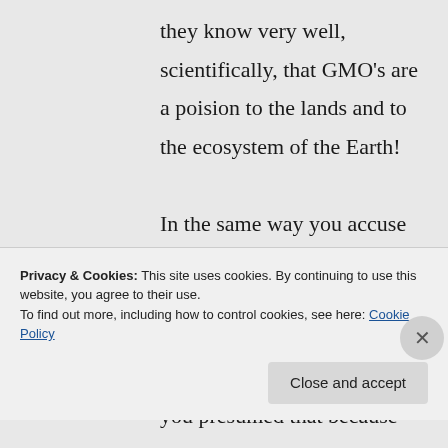they know very well, scientifically, that GMO's are a poision to the lands and to the ecosystem of the Earth!

In the same way you accuse me of using those fallacies, I can also say the same about you, that you are using the fallacy of the fallacy because you presumed that because
Privacy & Cookies: This site uses cookies. By continuing to use this website, you agree to their use.
To find out more, including how to control cookies, see here: Cookie Policy